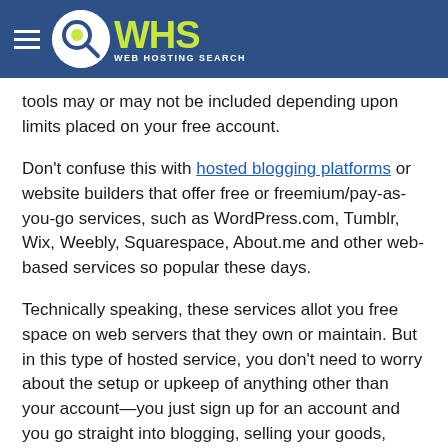WHS Web Hosting Search
tools may or may not be included depending upon limits placed on your free account.
Don't confuse this with hosted blogging platforms or website builders that offer free or freemium/pay-as-you-go services, such as WordPress.com, Tumblr, Wix, Weebly, Squarespace, About.me and other web-based services so popular these days.
Technically speaking, these services allot you free space on web servers that they own or maintain. But in this type of hosted service, you don't need to worry about the setup or upkeep of anything other than your account—you just sign up for an account and you go straight into blogging, selling your goods, showcasing your portfolio, posting your photos and videos, etc.
To use an analogy, using hosted services is like renting or using for free a living or office space in a serviced building; everything is already built, all you need is to move in, decorate the place a bit, and do your thing. Getting free web hosting, on the other hand, is